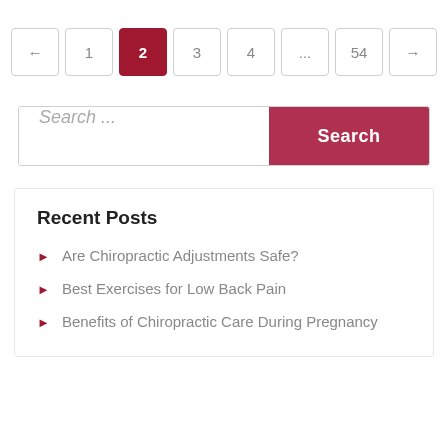← 1 2 3 4 ... 54 →
Search ...
Recent Posts
Are Chiropractic Adjustments Safe?
Best Exercises for Low Back Pain
Benefits of Chiropractic Care During Pregnancy